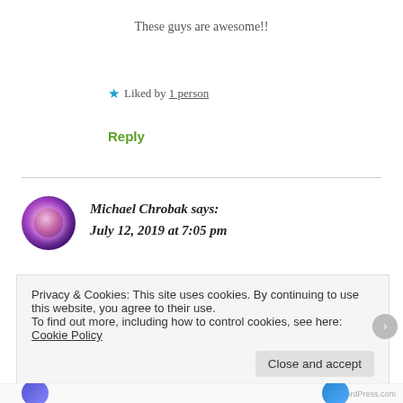These guys are awesome!!
★ Liked by 1 person
Reply
Michael Chrobak says: July 12, 2019 at 7:05 pm
Privacy & Cookies: This site uses cookies. By continuing to use this website, you agree to their use.
To find out more, including how to control cookies, see here: Cookie Policy
Close and accept